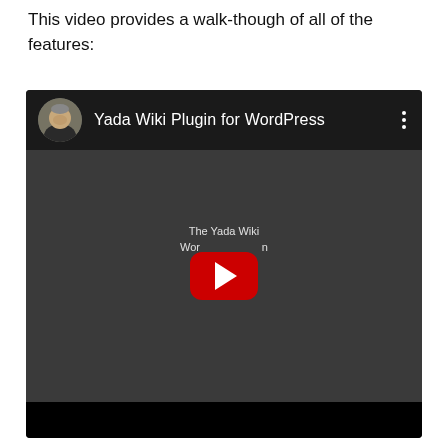This video provides a walk-though of all of the features:
[Figure (screenshot): Embedded YouTube video player showing 'Yada Wiki Plugin for WordPress' with a dark background, play button overlay, and video overlay text 'The Yada Wiki WordPress Plugin' and 'David McCan'. A black bottom bar is visible at the bottom of the player.]